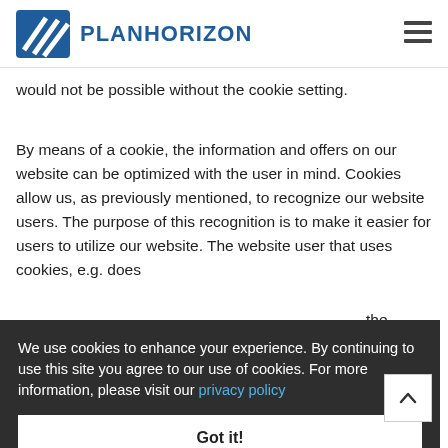PLANHORIZON
would not be possible without the cookie setting.
By means of a cookie, the information and offers on our website can be optimized with the user in mind. Cookies allow us, as previously mentioned, to recognize our website users. The purpose of this recognition is to make it easier for users to utilize our website. The website user that uses cookies, e.g. does
We use cookies to enhance your experience. By continuing to use this site you agree to our use of cookies. For more information, please visit our privacy policy
the other p. The placed
Got it!
The data subject may, at any time, prevent the setting of cookies